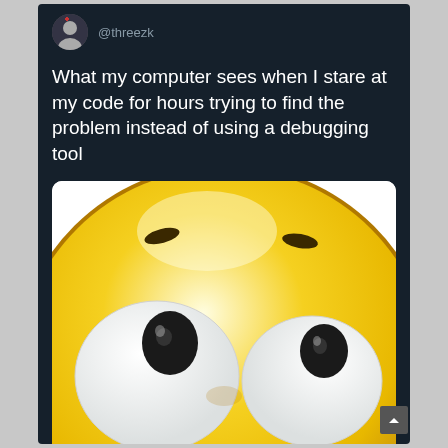@threezk
What my computer sees when I stare at my code for hours trying to find the problem instead of using a debugging tool
[Figure (illustration): A large close-up emoji face with wide rolling eyes (the 'face with rolling eyes' or dizzy emoji), yellow round face filling the frame, large white eyes with black pupils looking upward/sideways, set against a white background.]